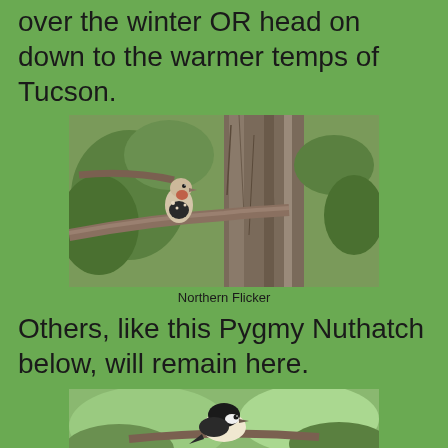over the winter OR head on down to the warmer temps of Tucson.
[Figure (photo): A Northern Flicker bird perched on a pine tree branch, small bird with spotted/striped plumage visible against a large tree trunk with pine needles in background]
Northern Flicker
Others, like this Pygmy Nuthatch below, will remain here.
[Figure (photo): A Pygmy Nuthatch bird on pine branches, showing dark cap and lighter underparts, partially visible at bottom of page]